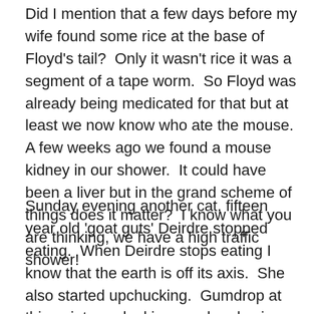Did I mention that a few days before my wife found some rice at the base of Floyd's tail?  Only it wasn't rice it was a segment of a tape worm.  So Floyd was already being medicated for that but at least we now know who ate the mouse.  A few weeks ago we found a mouse kidney in our shower.  It could have been a liver but in the grand scheme of things does it matter?  I know what you are thinking, we have a high traffic shower!
Sunday evening another cat, fifteen year old 'goat guts' Deirdre stopped eating.  When Deirdre stops eating I know that the earth is off its axis.  She also started upchucking.  Gumdrop at this point was looking good and using the litter box again.  Perhaps she is just lazy and was in the shower already when she needed to pee.  So we replaced Gumdrop with 'goat guts' Deirdre.   Beezer however was starting to eat again and was looking a little better but we